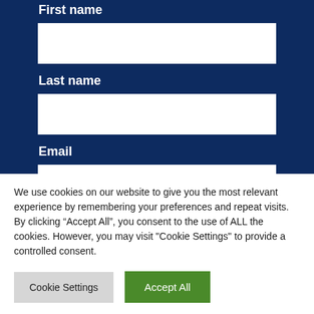First name
[Figure (screenshot): Empty white input box for First name field]
Last name
[Figure (screenshot): Empty white input box for Last name field]
Email
[Figure (screenshot): Partially visible empty white input box for Email field]
We use cookies on our website to give you the most relevant experience by remembering your preferences and repeat visits. By clicking “Accept All”, you consent to the use of ALL the cookies. However, you may visit "Cookie Settings" to provide a controlled consent.
Cookie Settings
Accept All